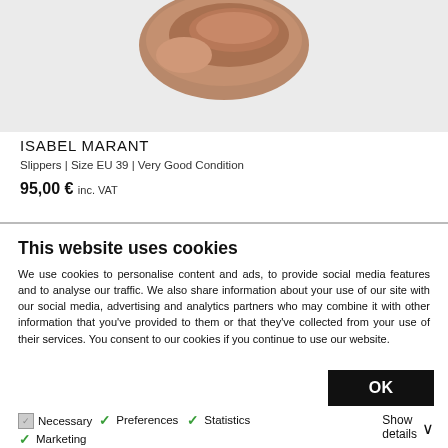[Figure (photo): Partial view of an Isabel Marant slipper/shoe on a light gray background, cropped at top]
ISABEL MARANT
Slippers | Size EU 39 | Very Good Condition
95,00 € inc. VAT
This website uses cookies
We use cookies to personalise content and ads, to provide social media features and to analyse our traffic. We also share information about your use of our site with our social media, advertising and analytics partners who may combine it with other information that you've provided to them or that they've collected from your use of their services. You consent to our cookies if you continue to use our website.
OK
Necessary
Preferences
Statistics
Marketing
Show details